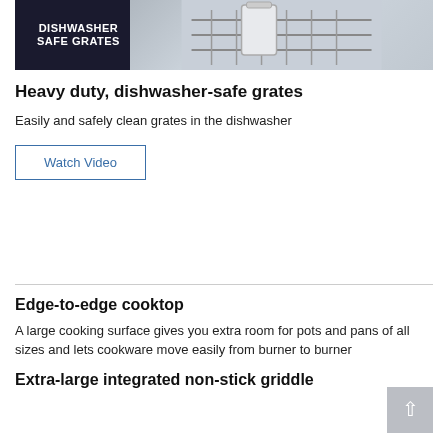[Figure (photo): Dishwasher with grates being loaded, with text overlay reading DISHWASHER SAFE GRATES]
Heavy duty, dishwasher-safe grates
Easily and safely clean grates in the dishwasher
Watch Video
Edge-to-edge cooktop
A large cooking surface gives you extra room for pots and pans of all sizes and lets cookware move easily from burner to burner
Extra-large integrated non-stick griddle